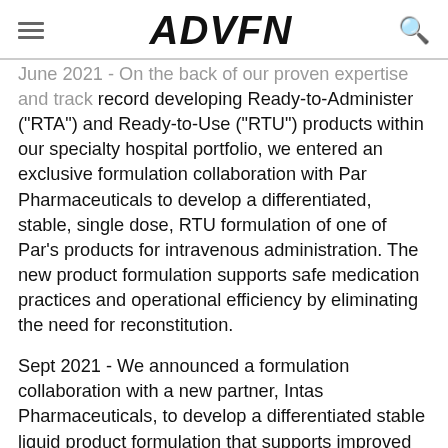ADVFN
June 2021 - On the back of our proven expertise and track record developing Ready-to-Administer ("RTA") and Ready-to-Use ("RTU") products within our specialty hospital portfolio, we entered an exclusive formulation collaboration with Par Pharmaceuticals to develop a differentiated, stable, single dose, RTU formulation of one of Par's products for intravenous administration. The new product formulation supports safe medication practices and operational efficiency by eliminating the need for reconstitution.
Sept 2021 - We announced a formulation collaboration with a new partner, Intas Pharmaceuticals, to develop a differentiated stable liquid product formulation that supports improved usability for the patient compared to current marketed products, and in particular, facilitates home use outside of a healthcare environment.